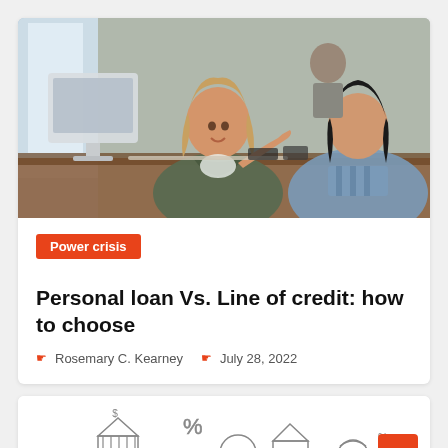[Figure (photo): Two women in an office meeting setting, one appears to be a financial advisor speaking with a client across a desk. Office environment with computers and other people in background.]
Power crisis
Personal loan Vs. Line of credit: how to choose
Rosemary C. Kearney   July 28, 2022
[Figure (illustration): Financial icons illustration showing bank buildings, dollar signs, percentage symbols, and money bags in outline/sketch style.]